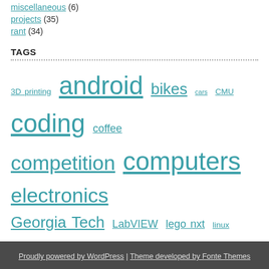miscellaneous (6)
projects (35)
rant (34)
TAGS
3D printing android bikes cars CMU coding coffee competition computers electronics Georgia Tech LabVIEW lego nxt linux machining make matlab mechatronics phone robots slot car
Proudly powered by WordPress | Theme developed by Fonte Themes